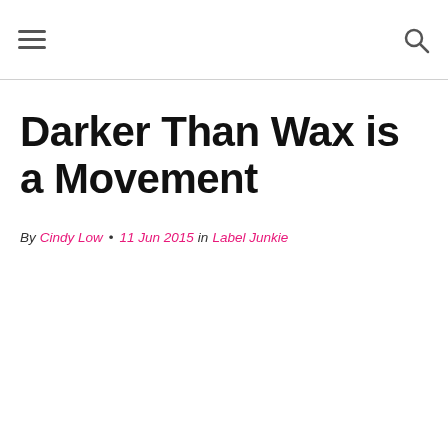[navigation bar with hamburger menu and search icon]
Darker Than Wax is a Movement
By Cindy Low • 11 Jun 2015 in Label Junkie